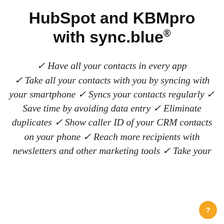HubSpot and KBMpro with sync.blue®
✓ Have all your contacts in every app ✓ Take all your contacts with you by syncing with your smartphone ✓ Syncs your contacts regularly ✓ Save time by avoiding data entry ✓ Eliminate duplicates ✓ Show caller ID of your CRM contacts on your phone ✓ Reach more recipients with newsletters and other marketing tools ✓ Take your